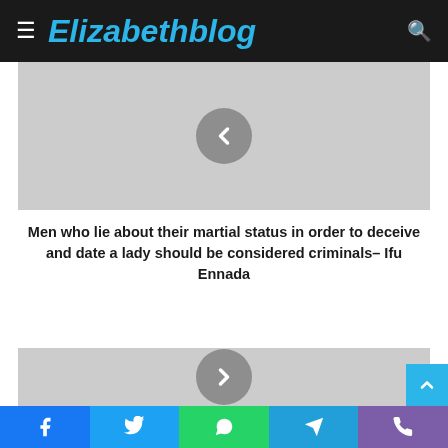Elizabethblog
[Figure (screenshot): Gray placeholder image with a circular left-arrow navigation button in the center]
Men who lie about their martial status in order to deceive and date a lady should be considered criminals- Ifu Ennada
[Figure (screenshot): Gray placeholder image with a circular right-arrow navigation button in the center]
Facebook | Twitter | WhatsApp | Telegram | Phone social share buttons